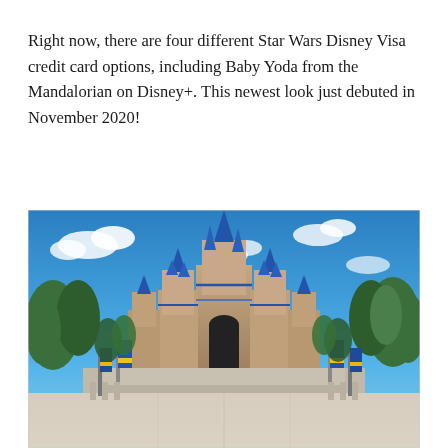Right now, there are four different Star Wars Disney Visa credit card options, including Baby Yoda from the Mandalorian on Disney+. This newest look just debuted in November 2020!
[Figure (photo): A photo of Cinderella Castle at Walt Disney World's Magic Kingdom on a sunny day with blue sky. The castle features blue spires and gold details. Blue and yellow banners hang in the foreground plaza area, and green trees surround the castle.]